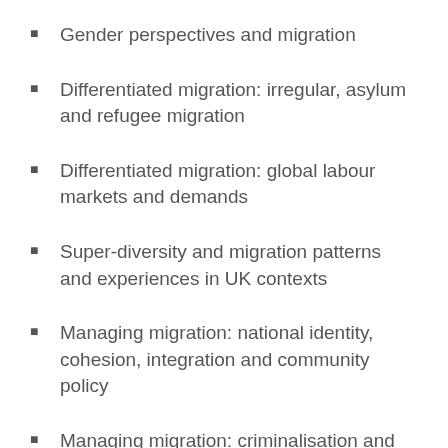Gender perspectives and migration
Differentiated migration: irregular, asylum and refugee migration
Differentiated migration: global labour markets and demands
Super-diversity and migration patterns and experiences in UK contexts
Managing migration: national identity, cohesion, integration and community policy
Managing migration: criminalisation and securitisation